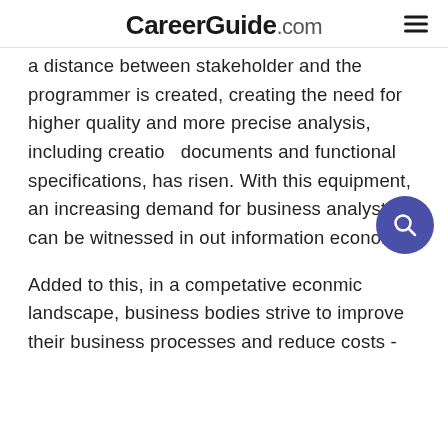CareerGuide.com
a distance between stakeholder and the programmer is created, creating the need for higher quality and more precise analysis, including creation documents and functional specifications, has risen. With this equipment, an increasing demand for business analysts can be witnessed in out information economy.
Added to this, in a competative econmic landscape, business bodies strive to improve their business processes and reduce costs -